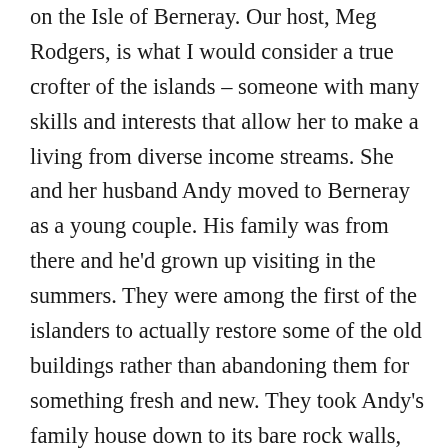on the Isle of Berneray. Our host, Meg Rodgers, is what I would consider a true crofter of the islands – someone with many skills and interests that allow her to make a living from diverse income streams. She and her husband Andy moved to Berneray as a young couple. His family was from there and he'd grown up visiting in the summers. They were among the first of the islanders to actually restore some of the old buildings rather than abandoning them for something fresh and new. They took Andy's family house down to its bare rock walls, cleaning and hauling out the debris of a few generations. Then they rebuilt and restored using